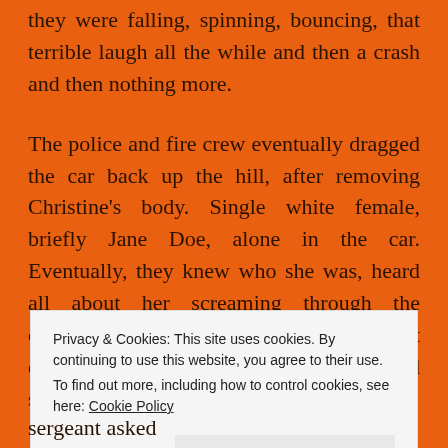they were falling, spinning, bouncing, that terrible laugh all the while and then a crash and then nothing more.
The police and fire crew eventually dragged the car back up the hill, after removing Christine's body. Single white female, briefly Jane Doe, alone in the car. Eventually, they knew who she was, heard all about her screaming through the courtyard before her ride to oblivion. But even before that, the homicide detective had shaken his head, told the
Privacy & Cookies: This site uses cookies. By continuing to use this website, you agree to their use.
To find out more, including how to control cookies, see here: Cookie Policy
Close and accept
sergeant asked